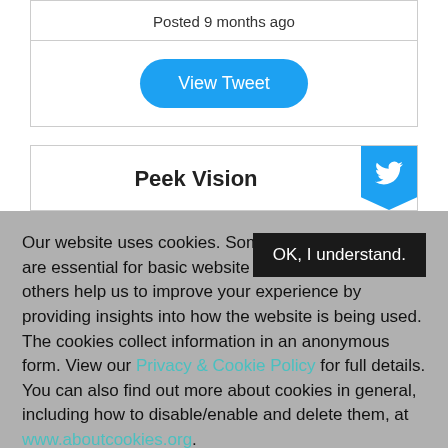Posted 9 months ago
View Tweet
Peek Vision
Our website uses cookies. Some of these cookies are essential for basic website functionality, while others help us to improve your experience by providing insights into how the website is being used. The cookies collect information in an anonymous form. View our Privacy & Cookie Policy for full details. You can also find out more about cookies in general, including how to disable/enable and delete them, at www.aboutcookies.org.
OK, I understand.